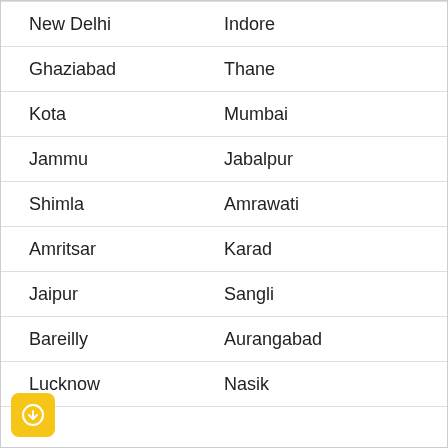New Delhi | Indore
Ghaziabad | Thane
Kota | Mumbai
Jammu | Jabalpur
Shimla | Amrawati
Amritsar | Karad
Jaipur | Sangli
Bareilly | Aurangabad
Lucknow | Nasik